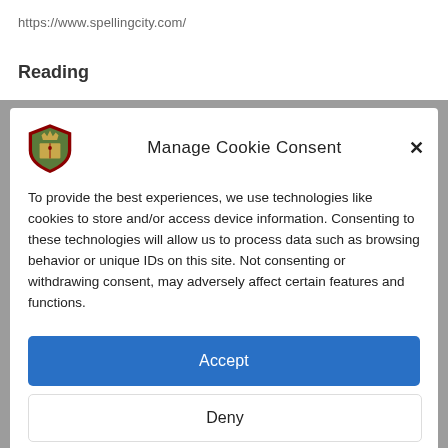https://www.spellingcity.com/
Reading
[Figure (screenshot): Manage Cookie Consent modal dialog with shield logo, close button, consent text, Accept button, Deny button, and View preferences button]